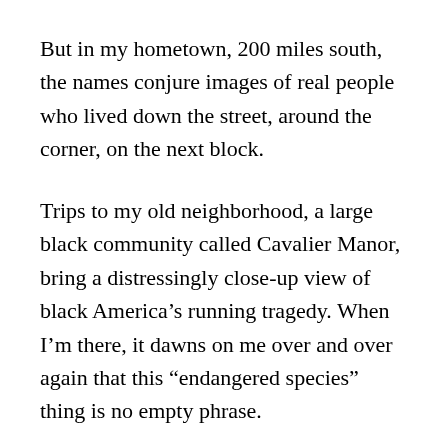But in my hometown, 200 miles south, the names conjure images of real people who lived down the street, around the corner, on the next block.
Trips to my old neighborhood, a large black community called Cavalier Manor, bring a distressingly close-up view of black America's running tragedy. When I'm there, it dawns on me over and over again that this “endangered species” thing is no empty phrase.
Consider this: Most of the guys I hung out with are either in prison, dead, drug zombies or nickel-and-dime street hustlers. Some are racing full-throttle